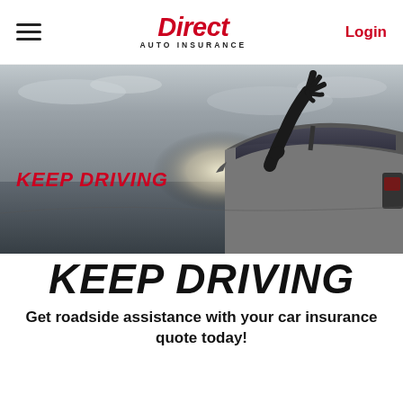Direct Auto Insurance — Login
[Figure (photo): Black and white hero image of a person's arm extended out of a car window while driving, with dramatic sky in the background. Red italic text overlay reads KEEP DRIVING.]
KEEP DRIVING
Get roadside assistance with your car insurance quote today!